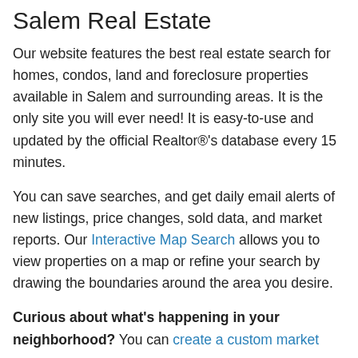Salem Real Estate
Our website features the best real estate search for homes, condos, land and foreclosure properties available in Salem and surrounding areas. It is the only site you will ever need! It is easy-to-use and updated by the official Realtor®'s database every 15 minutes.
You can save searches, and get daily email alerts of new listings, price changes, sold data, and market reports. Our Interactive Map Search allows you to view properties on a map or refine your search by drawing the boundaries around the area you desire.
Curious about what's happening in your neighborhood? You can create a custom market